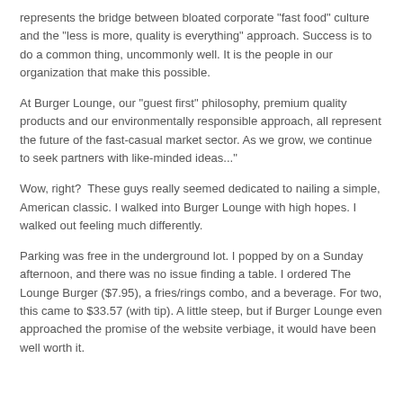represents the bridge between bloated corporate "fast food" culture and the "less is more, quality is everything" approach. Success is to do a common thing, uncommonly well. It is the people in our organization that make this possible.
At Burger Lounge, our "guest first" philosophy, premium quality products and our environmentally responsible approach, all represent the future of the fast-casual market sector. As we grow, we continue to seek partners with like-minded ideas..."
Wow, right?  These guys really seemed dedicated to nailing a simple, American classic. I walked into Burger Lounge with high hopes. I walked out feeling much differently.
Parking was free in the underground lot. I popped by on a Sunday afternoon, and there was no issue finding a table. I ordered The Lounge Burger ($7.95), a fries/rings combo, and a beverage. For two, this came to $33.57 (with tip). A little steep, but if Burger Lounge even approached the promise of the website verbiage, it would have been well worth it.